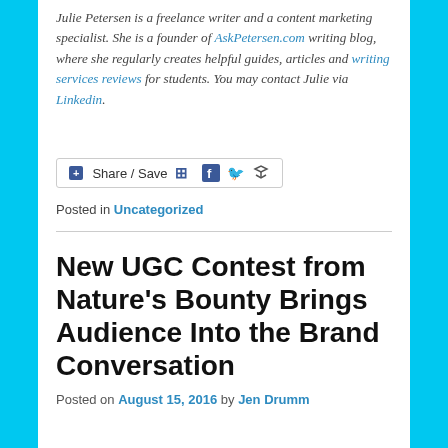Julie Petersen is a freelance writer and a content marketing specialist. She is a founder of AskPetersen.com writing blog, where she regularly creates helpful guides, articles and writing services reviews for students. You may contact Julie via Linkedin.
[Figure (other): Share / Save social media button bar with Facebook, Twitter, and share icons]
Posted in Uncategorized
New UGC Contest from Nature's Bounty Brings Audience Into the Brand Conversation
Posted on August 15, 2016 by Jen Drumm